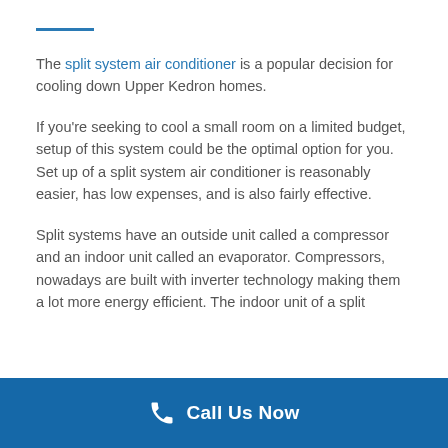The split system air conditioner is a popular decision for cooling down Upper Kedron homes.
If you're seeking to cool a small room on a limited budget, setup of this system could be the optimal option for you. Set up of a split system air conditioner is reasonably easier, has low expenses, and is also fairly effective.
Split systems have an outside unit called a compressor and an indoor unit called an evaporator. Compressors, nowadays are built with inverter technology making them a lot more energy efficient. The indoor unit of a split
Call Us Now